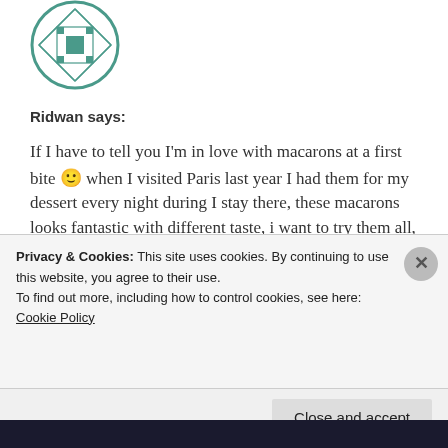[Figure (logo): Circular avatar/logo with teal geometric quilted pattern on white background inside a teal circle border]
Ridwan says:
If I have to tell you I'm in love with macarons at a first bite 🙂 when I visited Paris last year I had them for my dessert every night during I stay there, these macarons looks fantastic with different taste, i want to try them all, yummy story 🙂
★ Like
June 2, 2013 at 9:24 am
Privacy & Cookies: This site uses cookies. By continuing to use this website, you agree to their use.
To find out more, including how to control cookies, see here:
Cookie Policy
Close and accept